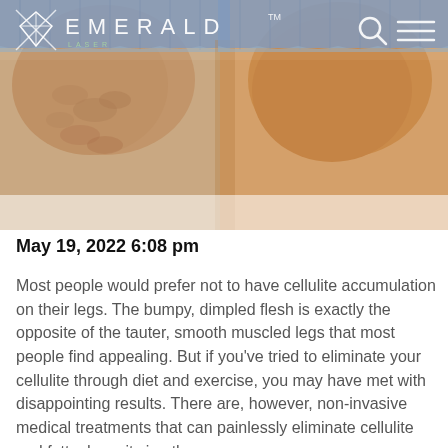[Figure (photo): Before and after comparison photo showing two pairs of legs wearing denim shorts, one with visible cellulite and one with smoother skin, with Emerald Laser logo and navigation bar overlay at top]
May 19, 2022 6:08 pm
Most people would prefer not to have cellulite accumulation on their legs. The bumpy, dimpled flesh is exactly the opposite of the tauter, smooth muscled legs that most people find appealing. But if you've tried to eliminate your cellulite through diet and exercise, you may have met with disappointing results. There are, however, non-invasive medical treatments that can painlessly eliminate cellulite and fatty deposits in other areas.